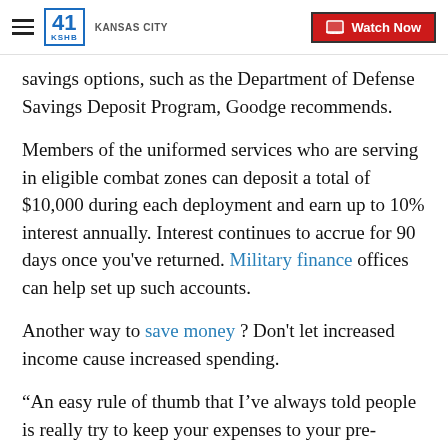41 KSHB KANSAS CITY | Watch Now
savings options, such as the Department of Defense Savings Deposit Program, Goodge recommends.
Members of the uniformed services who are serving in eligible combat zones can deposit a total of $10,000 during each deployment and earn up to 10% interest annually. Interest continues to accrue for 90 days once you've returned. Military finance offices can help set up such accounts.
Another way to save money ? Don't let increased income cause increased spending.
“An easy rule of thumb that I’ve always told people is really try to keep your expenses to your pre-deployment level,” Goodge...